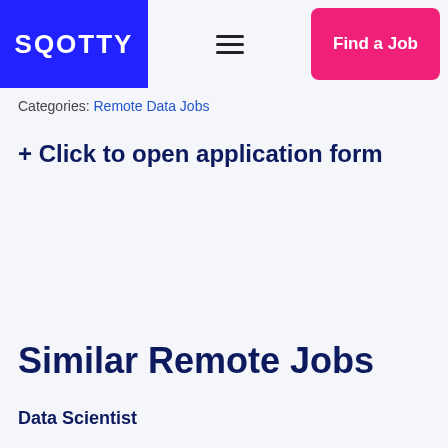SQOTTY
Categories: Remote Data Jobs
+ Click to open application form
Similar Remote Jobs
Data Scientist